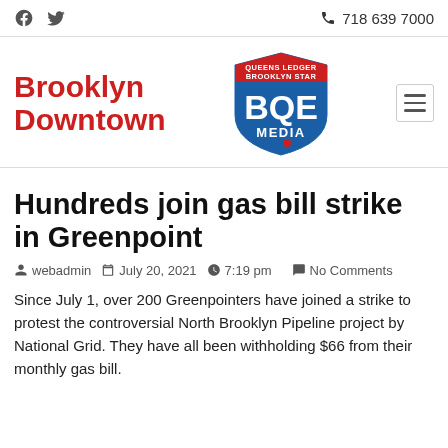Facebook  Twitter  718 639 7000
[Figure (logo): BQE Media shield logo with Queens Ledger Brooklyn Star text and Brooklyn Downtown site name]
Hundreds join gas bill strike in Greenpoint
webadmin  July 20, 2021  7:19 pm  No Comments
Since July 1, over 200 Greenpointers have joined a strike to protest the controversial North Brooklyn Pipeline project by National Grid. They have all been withholding $66 from their monthly gas bill.